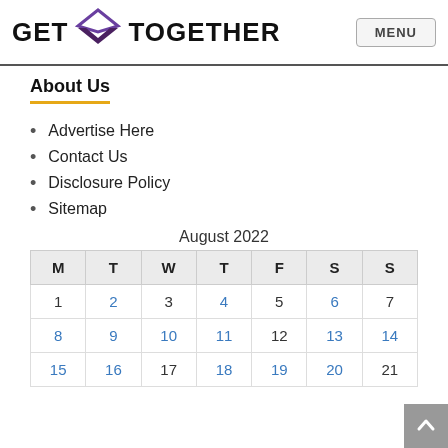GET TOGETHER | MENU
About Us
Advertise Here
Contact Us
Disclosure Policy
Sitemap
August 2022
| M | T | W | T | F | S | S |
| --- | --- | --- | --- | --- | --- | --- |
| 1 | 2 | 3 | 4 | 5 | 6 | 7 |
| 8 | 9 | 10 | 11 | 12 | 13 | 14 |
| 15 | 16 | 17 | 18 | 19 | 20 | 21 |